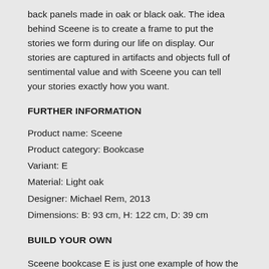back panels made in oak or black oak. The idea behind Sceene is to create a frame to put the stories we form during our life on display. Our stories are captured in artifacts and objects full of sentimental value and with Sceene you can tell your stories exactly how you want.
FURTHER INFORMATION
Product name: Sceene
Product category: Bookcase
Variant: E
Material: Light oak
Designer: Michael Rem, 2013
Dimensions: B: 93 cm, H: 122 cm, D: 39 cm
BUILD YOUR OWN
Sceene bookcase E is just one example of how the Sceene bookcase can be built. Sceene bookcase is a